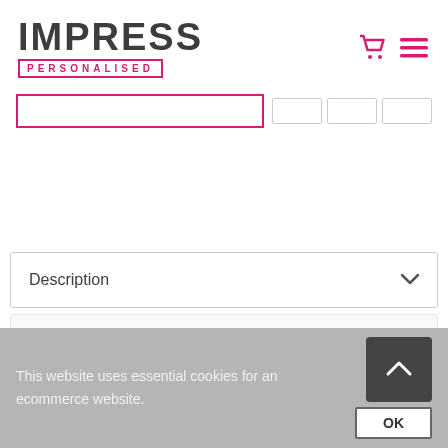[Figure (logo): Impress Personalised logo with bold dark text and pink bordered personalised text]
[Figure (screenshot): Shopping cart icon and hamburger menu icon in pink]
[Figure (screenshot): Pink-bordered search bar and grey button placeholders]
Description
This stylish and practical water bottle is reliably leak-proof – when closed, the snout
This website uses essential cookies for an ecommerce website.
[Figure (screenshot): Scroll to top button (dark grey with up arrow) and OK button]